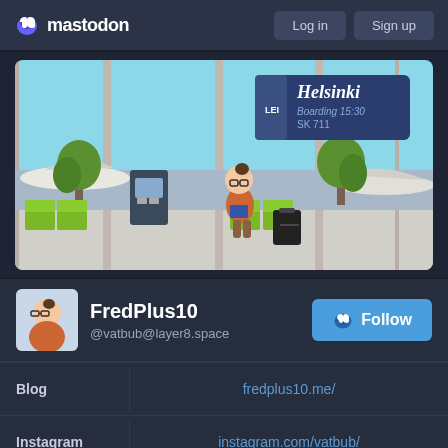mastodon  Log in  Sign up
[Figure (illustration): Cartoon illustration of an airport departure lounge with a person sitting reading, green chairs, a vending machine, plants, airplanes visible through windows, and a Helsinki flight information board showing Boarding 15:30, SK 711]
FredPlus10
@vatbub@layer8.space
Follow
| Label | Value |
| --- | --- |
| Blog | fredplus10.me/ |
| Instagram | instagram.com/vatbub/ |